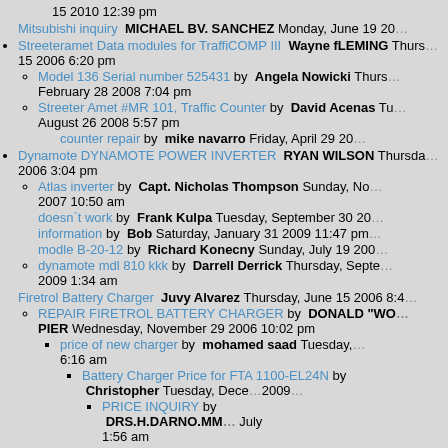15 2010 12:39 pm
Mitsubishi inquiry MICHAEL BV. SANCHEZ Monday, June 19 20...
Streeteramet Data modules for TraffiCOMP III Wayne fLEMING Thursday, 15 2006 6:20 pm
Model 136 Serial number 525431 by Angela Nowicki Thursday, February 28 2008 7:04 pm
Streeter Amet #MR 101, Traffic Counter by David Acenas Tuesday, August 26 2008 5:57 pm
counter repair by mike navarro Friday, April 29 20...
Dynamote DYNAMOTE POWER INVERTER RYAN WILSON Thursday, 2006 3:04 pm
Atlas inverter by Capt. Nicholas Thompson Sunday, November 2007 10:50 am
doesn`t work by Frank Kulpa Tuesday, September 30 20...
information by Bob Saturday, January 31 2009 11:47 pm
modle B-20-12 by Richard Konecny Sunday, July 19 200...
dynamote mdl 810 kkk by Darrell Derrick Thursday, September 2009 1:34 am
Firetrol Battery Charger Juvy Alvarez Thursday, June 15 2006 8:4...
REPAIR FIRETROL BATTERY CHARGER by DONALD "WO... PIER Wednesday, November 29 2006 10:02 pm
price of new charger by mohamed saad Tuesday, ... 6:16 am
Battery Charger Price for FTA 1100-EL24N by Christopher Tuesday, December ... 2009...
PRICE INQUIRY by DRS.H.DARNO.MM... July 1:56 am
Request for Quotation by